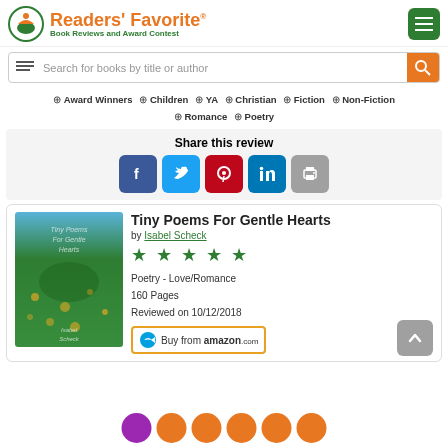Readers' Favorite - Book Reviews and Award Contest
Search for books by title or author
Award Winners
Children
YA
Christian
Fiction
Non-Fiction
Romance
Poetry
Share this review
[Figure (screenshot): Social share buttons: Facebook, Twitter, Pinterest, LinkedIn, Print]
Tiny Poems For Gentle Hearts by Isabel Scheck. Poetry - Love/Romance. 160 Pages. Reviewed on 10/12/2018.
[Figure (photo): Book cover of Tiny Poems For Gentle Hearts by Isabel Scheck, green background with gold flakes and text]
Buy from amazon.com